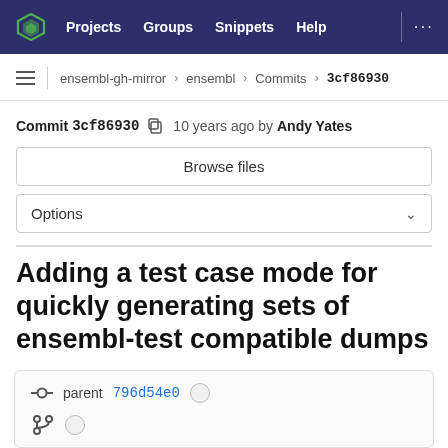Projects  Groups  Snippets  Help
ensembl-gh-mirror > ensembl > Commits > 3cf86930
Commit 3cf86930  10 years ago by Andy Yates
Browse files
Options
Adding a test case mode for quickly generating sets of ensembl-test compatible dumps
parent 796d54e0